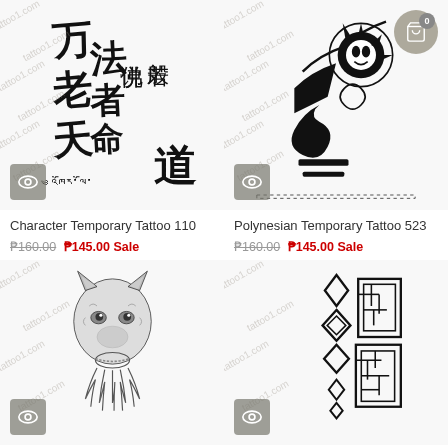[Figure (illustration): Character temporary tattoo 110 - black ink Asian/Tibetan script calligraphy tattoo design with watermark]
Character Temporary Tattoo 110
₱160.00  ₱145.00 Sale
[Figure (illustration): Polynesian temporary tattoo 523 - black ink tribal Polynesian sleeve tattoo design with watermark]
Polynesian Temporary Tattoo 523
₱160.00  ₱145.00 Sale
[Figure (illustration): Wolf temporary tattoo - detailed black ink wolf with dreamcatcher feathers tattoo design with watermark]
[Figure (illustration): Geometric temporary tattoo - black ink geometric pattern with diamond shapes and maze-like rectangles with watermark]